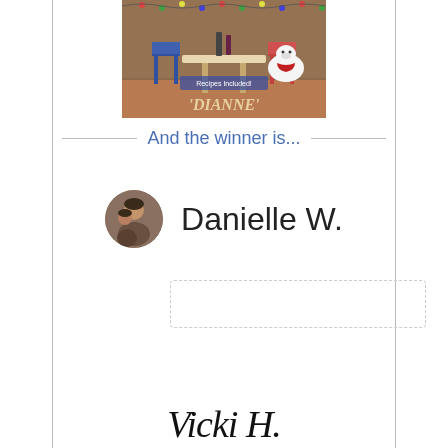[Figure (illustration): Book cover image showing a dining scene with a white dog at an outdoor table, text 'Recipes Included!' visible, title partially visible as 'DIANNE']
And the winner is...
[Figure (photo): Small circular avatar/profile photo of a person]
Danielle W.
[Figure (other): Dotted rectangle border box, empty content area]
Vicki H.